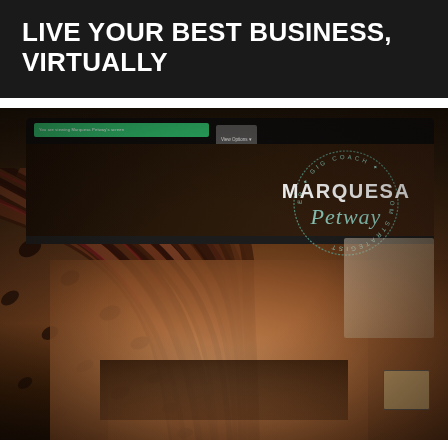LIVE YOUR BEST BUSINESS, VIRTUALLY
[Figure (photo): Close-up photograph of a woman with box braids shown on a computer screen during a Zoom meeting. The Marquesa Petway logo (Speaker, GIG Coach, Zoom Strategist) is overlaid in the upper right corner of the image. The screen interface shows a green bar and 'View Options' button.]